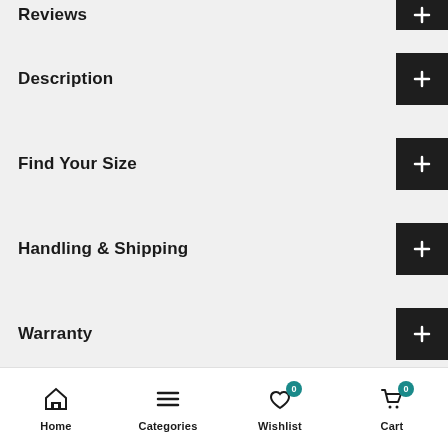Reviews
Description
Find Your Size
Handling & Shipping
Warranty
Returns
FAQs
Home  Categories  Wishlist 0  Cart 0